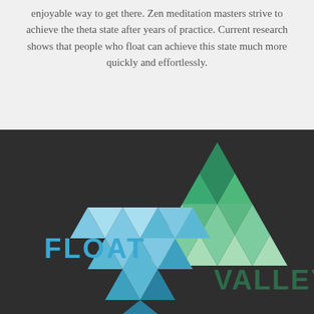enjoyable way to get there. Zen meditation masters strive to achieve the theta state after years of practice. Current research shows that people who float can achieve this state much more quickly and effortlessly.
[Figure (logo): Float Valley logo on dark background. A geometric triangle made of smaller triangles in green tones pointing upward, and an inverted triangle in blue tones pointing downward, overlapping. Text 'FLOAT' in blue and 'VALLEY' in dark green beside the triangles.]